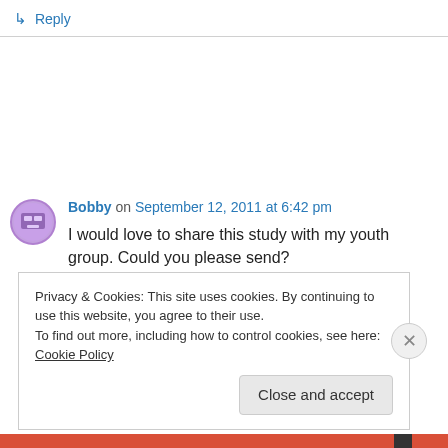↳ Reply
Bobby on September 12, 2011 at 6:42 pm
I would love to share this study with my youth group. Could you please send?
bmor4christ@gmail.com
Privacy & Cookies: This site uses cookies. By continuing to use this website, you agree to their use.
To find out more, including how to control cookies, see here: Cookie Policy
Close and accept